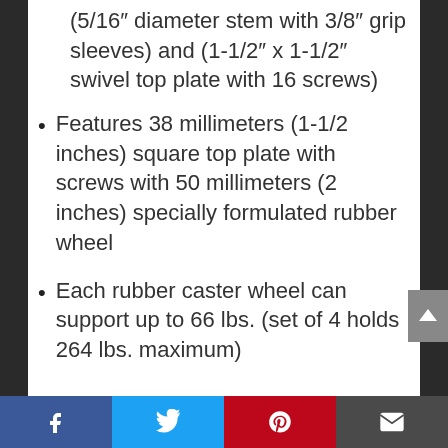(5/16″ diameter stem with 3/8″ grip sleeves) and (1-1/2″ x 1-1/2″ swivel top plate with 16 screws)
Features 38 millimeters (1-1/2 inches) square top plate with screws with 50 millimeters (2 inches) specially formulated rubber wheel
Each rubber caster wheel can support up to 66 lbs. (set of 4 holds 264 lbs. maximum)
Description